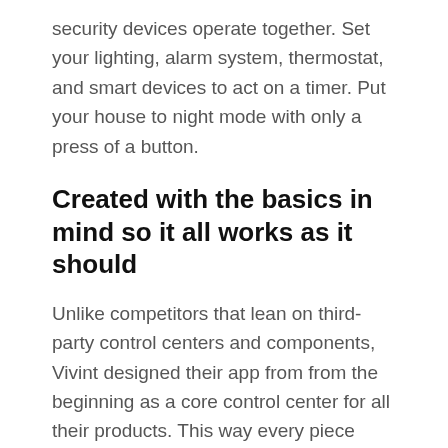security devices operate together. Set your lighting, alarm system, thermostat, and smart devices to act on a timer. Put your house to night mode with only a press of a button.
Created with the basics in mind so it all works as it should
Unlike competitors that lean on third-party control centers and components, Vivint designed their app from from the beginning as a core control center for all their products. This way every piece works as it should upon setup. Brand-new home security or smart devices seamlessly connect to the app, so your system can adapt when your lifestyle requires. And since every device works perfectly together with simple commands, you can seamlessly set custom